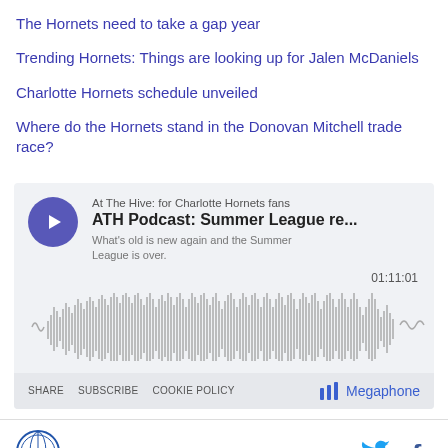The Hornets need to take a gap year
Trending Hornets: Things are looking up for Jalen McDaniels
Charlotte Hornets schedule unveiled
Where do the Hornets stand in the Donovan Mitchell trade race?
[Figure (other): Podcast player widget for 'ATH Podcast: Summer League re...' from 'At The Hive: for Charlotte Hornets fans'. Shows play button, waveform visualization, duration 01:11:01, description 'What's old is new again and the Summer League is over.', footer with SHARE, SUBSCRIBE, COOKIE POLICY links and Megaphone logo.]
Logo icon | Twitter icon | Facebook icon